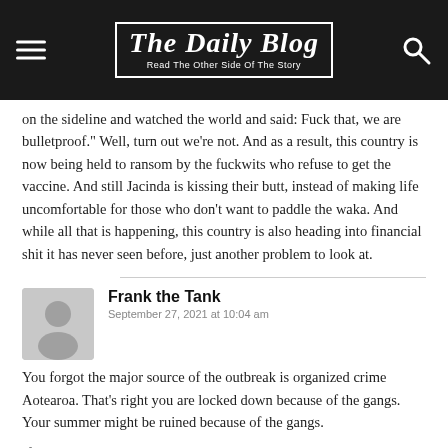The Daily Blog — Read The Other Side Of The Story
on the sideline and watched the world and said: Fuck that, we are bulletproof." Well, turn out we're not. And as a result, this country is now being held to ransom by the fuckwits who refuse to get the vaccine. And still Jacinda is kissing their butt, instead of making life uncomfortable for those who don't want to paddle the waka. And while all that is happening, this country is also heading into financial shit it has never seen before, just another problem to look at.
Frank the Tank
September 27, 2021 at 10:04 am
You forgot the major source of the outbreak is organized crime Aotearoa. That's right you are locked down because of the gangs. Your summer might be ruined because of the gangs.
If the true gang covid numbers got out even the